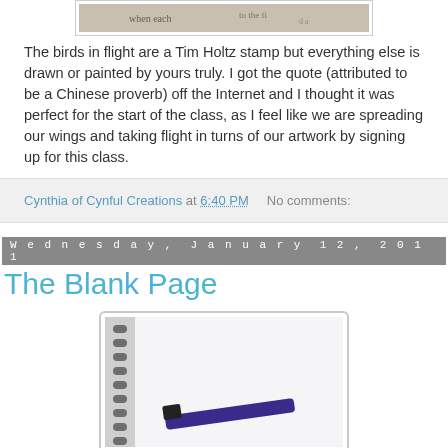[Figure (photo): Partial view of artwork with handwritten text/quote, cropped at top of page]
The birds in flight are a Tim Holtz stamp but everything else is drawn or painted by yours truly.  I got the quote (attributed to be a Chinese proverb) off the Internet and I thought it was perfect for the start of the class, as I feel like we are spreading our wings and taking flight in turns of our artwork by signing up for this class.
Cynthia of Cynful Creations at 6:40 PM    No comments:
Wednesday, January 12, 2011
The Blank Page
[Figure (photo): Photo of a spiral notebook with a pen/marker resting on it, blank white page visible]